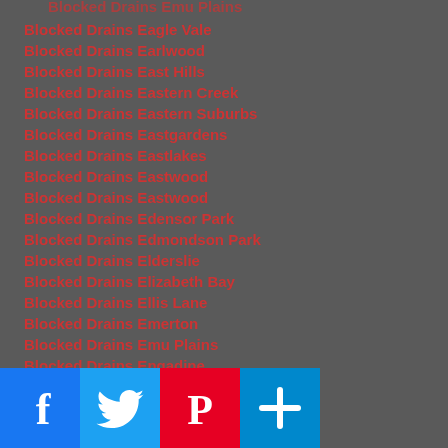Blocked Drains Eagle Vale
Blocked Drains Earlwood
Blocked Drains East Hills
Blocked Drains Eastern Creek
Blocked Drains Eastern Suburbs
Blocked Drains Eastgardens
Blocked Drains Eastlakes
Blocked Drains Eastwood
Blocked Drains Eastwood
Blocked Drains Edensor Park
Blocked Drains Edmondson Park
Blocked Drains Elderslie
Blocked Drains Elizabeth Bay
Blocked Drains Ellis Lane
Blocked Drains Emerton
Blocked Drains Emu Plains
Blocked Drains Engadine
Blocked Drains Englorie Park
Blocked Drains Ermington